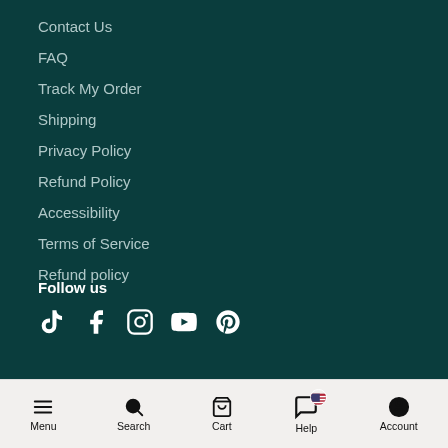Contact Us
FAQ
Track My Order
Shipping
Privacy Policy
Refund Policy
Accessibility
Terms of Service
Refund policy
Follow us
[Figure (other): Social media icons: TikTok, Facebook, Instagram, YouTube, Pinterest]
Menu | Search | Cart | Help | Account